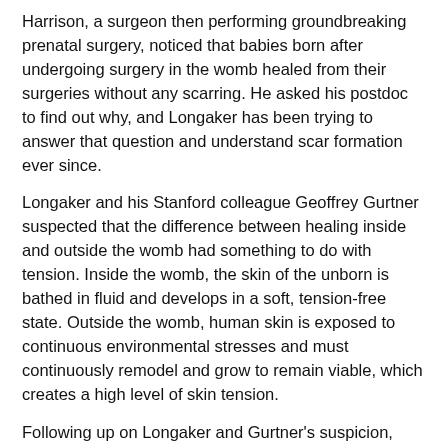Harrison, a surgeon then performing groundbreaking prenatal surgery, noticed that babies born after undergoing surgery in the womb healed from their surgeries without any scarring. He asked his postdoc to find out why, and Longaker has been trying to answer that question and understand scar formation ever since.
Longaker and his Stanford colleague Geoffrey Gurtner suspected that the difference between healing inside and outside the womb had something to do with tension. Inside the womb, the skin of the unborn is bathed in fluid and develops in a soft, tension-free state. Outside the womb, human skin is exposed to continuous environmental stresses and must continuously remodel and grow to remain viable, which creates a high level of skin tension.
Following up on Longaker and Gurtner's suspicion, Mascharak found in a series of mouse experiments that a particular class of fibroblast, a type of cell in skin and other connective tissues, activates a gene called Engrailed-1 during scar formation [3]. To see if mechanical stress played a role in this process, Mascharak and team grew mouse fibroblast cells on